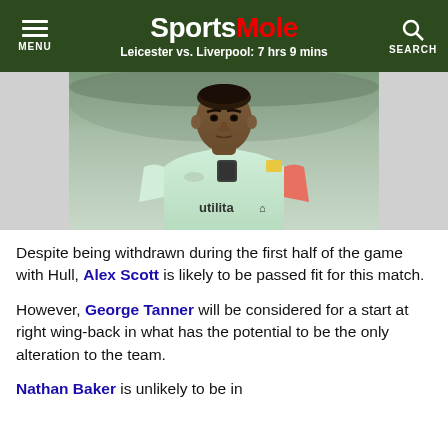Sports Mole — Leicester vs. Liverpool: 7 hrs 9 mins
[Figure (photo): Football player wearing a light mint green Huddersfield Town away kit with Utilita sponsor, looking to the side, close-up action photo]
Despite being withdrawn during the first half of the game with Hull, Alex Scott is likely to be passed fit for this match.
However, George Tanner will be considered for a start at right wing-back in what has the potential to be the only alteration to the team.
Nathan Baker is unlikely to be in